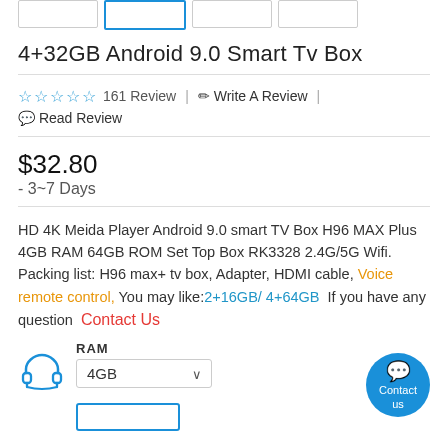4+32GB Android 9.0 Smart Tv Box
☆☆☆☆☆ 161 Review | ✏ Write A Review | 💬 Read Review
$32.80
- 3~7 Days
HD 4K Meida Player Android 9.0 smart TV Box H96 MAX Plus 4GB RAM 64GB ROM Set Top Box RK3328 2.4G/5G Wifi. Packing list: H96 max+ tv box, Adapter, HDMI cable, Voice remote control, You may like:2+16GB/ 4+64GB  If you have any question Contact Us
RAM  4GB ∨